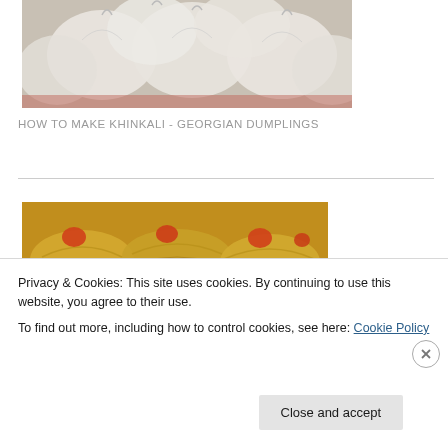[Figure (photo): Photo of white doughy Georgian dumplings (khinkali) piled together on a plate]
HOW TO MAKE KHINKALI - GEORGIAN DUMPLINGS
[Figure (photo): Photo of stuffed cabbage rolls with red tomato sauce in a baking dish]
Privacy & Cookies: This site uses cookies. By continuing to use this website, you agree to their use.
To find out more, including how to control cookies, see here: Cookie Policy
Close and accept